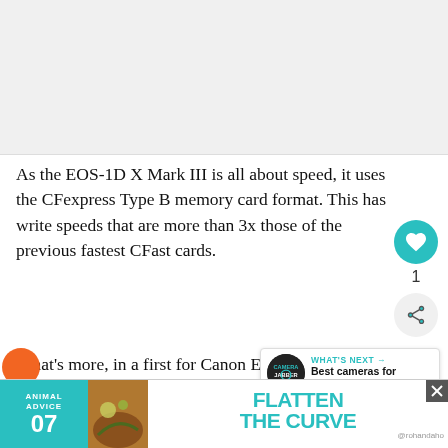[Figure (photo): Image placeholder / photograph at top of article]
As the EOS-1D X Mark III is all about speed, it uses the CFexpress Type B memory card format. This has write speeds that are more than 3x those of the previous fastest CFast cards.
What’s more, in a first for Canon EOS cameras, as well as raw and Jpeg files the EOS-1D X Mark III supports the new HEIF (High Efficiency Image File Format). This is based on the HEVC codec and it enables
[Figure (infographic): WHAT’S NEXT box: Best cameras for YouTube ...]
[Figure (infographic): Advertisement banner: ANIMAL ADVICE 07 / FLATTEN THE CURVE @rohandaho]